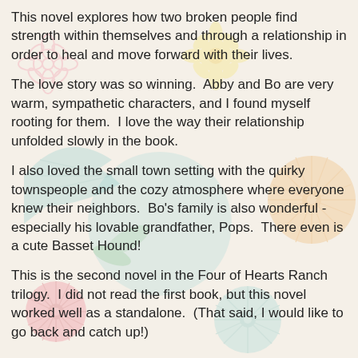This novel explores how two broken people find strength within themselves and through a relationship in order to heal and move forward with their lives.
The love story was so winning.  Abby and Bo are very warm, sympathetic characters, and I found myself rooting for them.  I love the way their relationship unfolded slowly in the book.
I also loved the small town setting with the quirky townspeople and the cozy atmosphere where everyone knew their neighbors.  Bo's family is also wonderful - especially his lovable grandfather, Pops.  There even is a cute Basset Hound!
This is the second novel in the Four of Hearts Ranch trilogy.  I did not read the first book, but this novel worked well as a standalone.  (That said, I would like to go back and catch up!)